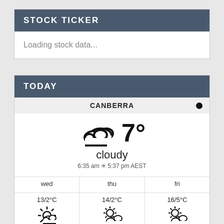STOCK TICKER
Loading stock data...
TODAY
CANBERRA
[Figure (illustration): Cloudy weather icon with two overlapping clouds, large bold number 7 degrees]
cloudy
6:35 am ✳ 5:37 pm AEST
| wed | thu | fri |
| --- | --- | --- |
| 13/2°C | 14/2°C | 16/5°C |
| partly sunny icon | cloudy sun icon | cloudy sun icon |
Weather forecast Canberra, Australia ▶